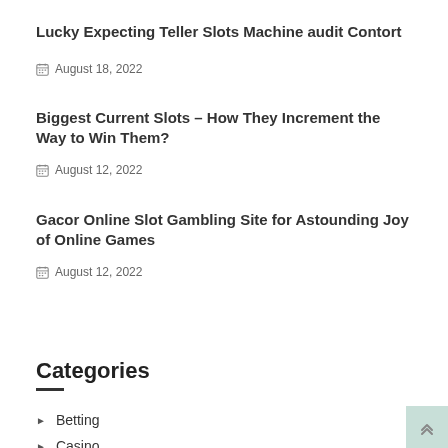Lucky Expecting Teller Slots Machine audit Contort
August 18, 2022
Biggest Current Slots – How They Increment the Way to Win Them?
August 12, 2022
Gacor Online Slot Gambling Site for Astounding Joy of Online Games
August 12, 2022
Categories
Betting
Casino